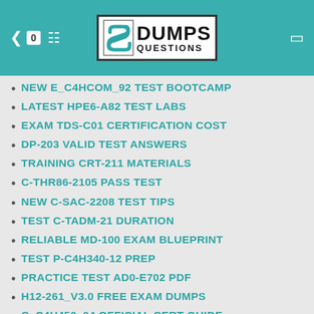DUMPS QUESTIONS
NEW E_C4HCOM_92 TEST BOOTCAMP
LATEST HPE6-A82 TEST LABS
EXAM TDS-C01 CERTIFICATION COST
DP-203 VALID TEST ANSWERS
TRAINING CRT-211 MATERIALS
C-THR86-2105 PASS TEST
NEW C-SAC-2208 TEST TIPS
TEST C-TADM-21 DURATION
RELIABLE MD-100 EXAM BLUEPRINT
TEST P-C4H340-12 PREP
PRACTICE TEST AD0-E702 PDF
H12-261_V3.0 FREE EXAM DUMPS
C_C4H450_04 OFFICIAL CERT GUIDE
LATEST BRAINDUMPS ISO-50001-CLA PPT
VALID C1000-108 TEST PREPARATION
DUMPS ONLINE